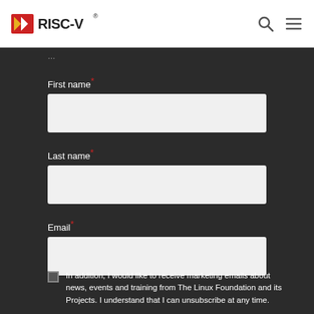RISC-V
First name*
Last name*
Email*
In addition, I would like to receive marketing emails about news, events and training from The Linux Foundation and its Projects. I understand that I can unsubscribe at any time.